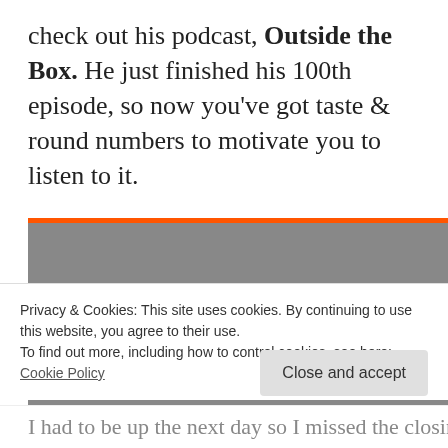check out his podcast, Outside the Box. He just finished his 100th episode, so now you've got taste & round numbers to motivate you to listen to it.
[Figure (screenshot): SoundCloud embedded player showing error 'Oops, we couldn't find that playlist.' with orange 'Play on SoundCloud' button and grey 'Listen in browser' button on grey background with orange top border.]
Privacy & Cookies: This site uses cookies. By continuing to use this website, you agree to their use.
To find out more, including how to control cookies, see here: Cookie Policy
I had to be up the next day so I missed the closing act,